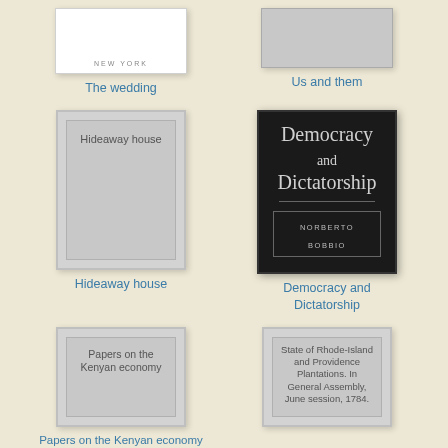[Figure (illustration): Book cover for 'The wedding' - white cover with small text 'NEW YORK']
The wedding
[Figure (illustration): Book cover for 'Us and them' - gray cover]
Us and them
[Figure (illustration): Book cover for 'Hideaway house' - light gray cover with inner border and title text]
Hideaway house
[Figure (illustration): Book cover for 'Democracy and Dictatorship' by Norberto Bobbio - dark black cover with large serif title and author name in box]
Democracy and Dictatorship
[Figure (illustration): Book cover for 'Papers on the Kenyan economy' - light gray cover with inner border and title text]
Papers on the Kenyan economy
[Figure (illustration): Book cover for 'State of Rhode-Island and Providence Plantations. In General Assembly, June session, 1784.' - light gray cover with inner border and title text]
State of Rhode-Island and Providence Plantations. In General Assembly, June session, 1784.